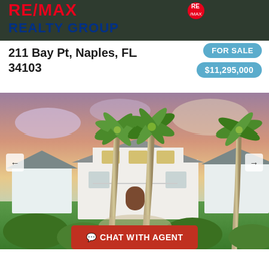[Figure (logo): RE/MAX Realty Group logo with red and blue text on dark background]
211 Bay Pt, Naples, FL 34103
FOR SALE
$11,295,000
[Figure (photo): Luxury waterfront home in Naples FL with palm trees in foreground, white facade, two-story structure, lush tropical landscaping, dramatic sunset sky]
CHAT WITH AGENT